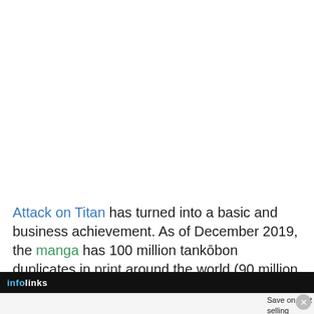Attack on Titan has turned into a basic and business achievement. As of December 2019, the manga has 100 million tankōbon duplicates in print around the world (90 million
[Figure (screenshot): Infolinks advertisement bar with Wayfair ad showing 'Top Appliances Low Prices', an image of a stove/range, and 'Save on best selling brands that live up to the hype' with a purple 'Shop now' button. A close (x) button appears in the top right.]